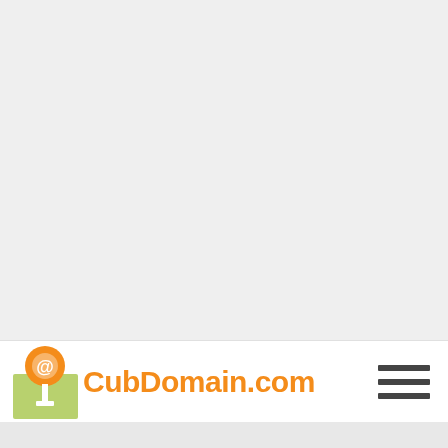[Figure (logo): CubDomain.com logo with orange lollipop/antenna icon and orange text 'CubDomain.com', alongside a hamburger menu icon]
[Figure (screenshot): Bottom edge of a webpage showing a light gray content area stub]